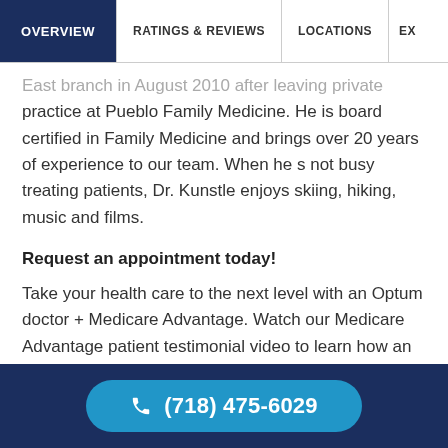OVERVIEW | RATINGS & REVIEWS | LOCATIONS | EX
East branch in August 2010 after leaving private practice at Pueblo Family Medicine. He is board certified in Family Medicine and brings over 20 years of experience to our team. When he s not busy treating patients, Dr. Kunstle enjoys skiing, hiking, music and films.
Request an appointment today!
Take your health care to the next level with an Optum doctor + Medicare Advantage. Watch our Medicare Advantage patient testimonial video to learn how an Optum doctor + Medicare Advantage can offer the best care at lower costs for you.
(718) 475-6029